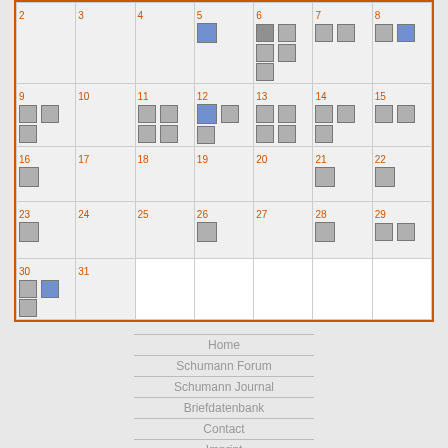|  | 2 | 3 | 4 | 5 | 6 | 7 | 8 |
| --- | --- | --- | --- | --- | --- | --- | --- |
|  | 9 | 10 | 11 | 12 | 13 | 14 | 15 |
|  | 16 | 17 | 18 | 19 | 20 | 21 | 22 |
|  | 23 | 24 | 25 | 26 | 27 | 28 | 29 |
|  | 30 | 31 |  |  |  |  |  |
Home
Schumann Forum
Schumann Journal
Briefdatenbank
Contact
Imprint
Login